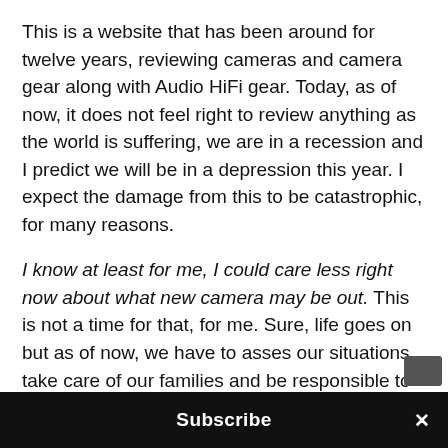This is a website that has been around for twelve years, reviewing cameras and camera gear along with Audio HiFi gear. Today, as of now, it does not feel right to review anything as the world is suffering, we are in a recession and I predict we will be in a depression this year. I expect the damage from this to be catastrophic, for many reasons.
I know at least for me, I could care less right now about what new camera may be out. This is not a time for that, for me. Sure, life goes on but as of now, we have to asses our situations, take care of our families and be responsible to avoid spreading this to others. I believe we will have close to 100K infected in the USA within 10-12 days. Unless we lock down AS A NATION NOW, it will grow and grow. This is just common sense...
Subscribe ×